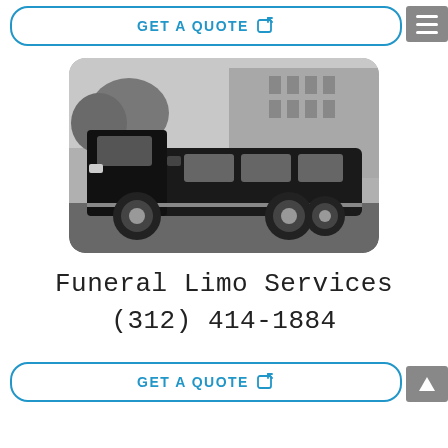GET A QUOTE
[Figure (photo): Black and white photo of a black stretch limousine / funeral coach vehicle on a street, with trees and a building in the background. The vehicle has a crew cab front and extended body typical of a funeral coach.]
Funeral Limo Services
(312) 414-1884
GET A QUOTE